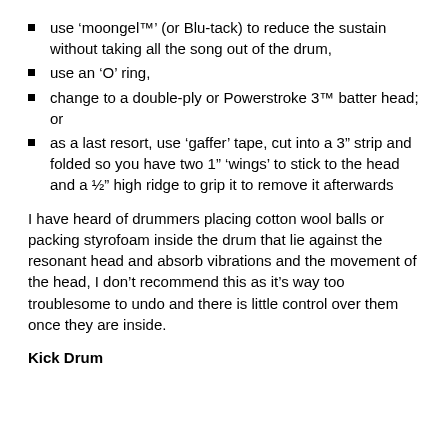use ‘moongel™’ (or Blu-tack) to reduce the sustain without taking all the song out of the drum,
use an ‘O’ ring,
change to a double-ply or Powerstroke 3™ batter head; or
as a last resort, use ‘gaffer’ tape, cut into a 3” strip and folded so you have two 1” ‘wings’ to stick to the head and a ½” high ridge to grip it to remove it afterwards
I have heard of drummers placing cotton wool balls or packing styrofoam inside the drum that lie against the resonant head and absorb vibrations and the movement of the head, I don’t recommend this as it’s way too troublesome to undo and there is little control over them once they are inside.
Kick Drum